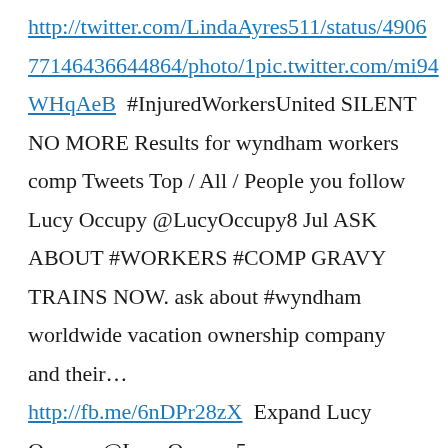http://twitter.com/LindaAyres511/status/490677146436644864/photo/1pic.twitter.com/mi94WHqAeB #InjuredWorkersUnited SILENT NO MORE Results for wyndham workers comp Tweets Top / All / People you follow Lucy Occupy @LucyOccupy8 Jul ASK ABOUT #WORKERS #COMP GRAVY TRAINS NOW. ask about #wyndham worldwide vacation ownership company and their... http://fb.me/6nDPr28zX Expand Lucy Occupy @LucyOccupy5 ...